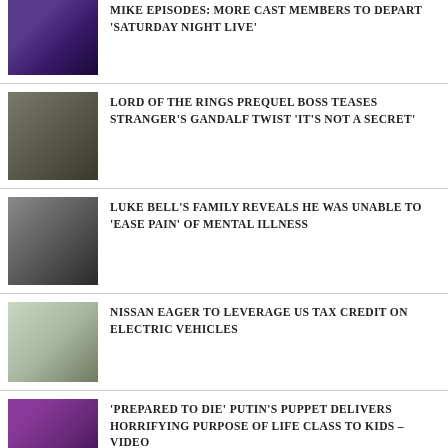MIKE EPISODES: MORE CAST MEMBERS TO DEPART 'SATURDAY NIGHT LIVE'
LORD OF THE RINGS PREQUEL BOSS TEASES STRANGER'S GANDALF TWIST 'IT'S NOT A SECRET'
LUKE BELL'S FAMILY REVEALS HE WAS UNABLE TO 'EASE PAIN' OF MENTAL ILLNESS
NISSAN EAGER TO LEVERAGE US TAX CREDIT ON ELECTRIC VEHICLES
'PREPARED TO DIE' PUTIN'S PUPPET DELIVERS HORRIFYING PURPOSE OF LIFE CLASS TO KIDS – VIDEO